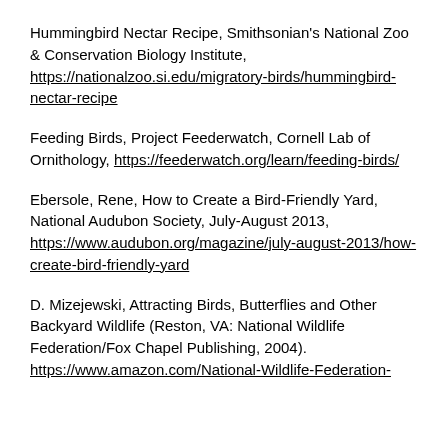Hummingbird Nectar Recipe, Smithsonian's National Zoo & Conservation Biology Institute, https://nationalzoo.si.edu/migratory-birds/hummingbird-nectar-recipe
Feeding Birds, Project Feederwatch, Cornell Lab of Ornithology, https://feederwatch.org/learn/feeding-birds/
Ebersole, Rene, How to Create a Bird-Friendly Yard, National Audubon Society, July-August 2013, https://www.audubon.org/magazine/july-august-2013/how-create-bird-friendly-yard
D. Mizejewski, Attracting Birds, Butterflies and Other Backyard Wildlife (Reston, VA: National Wildlife Federation/Fox Chapel Publishing, 2004). https://www.amazon.com/National-Wildlife-Federation-